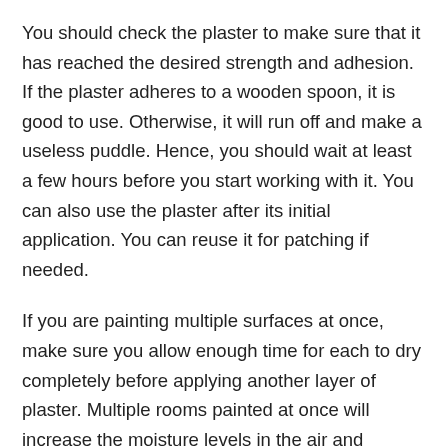You should check the plaster to make sure that it has reached the desired strength and adhesion. If the plaster adheres to a wooden spoon, it is good to use. Otherwise, it will run off and make a useless puddle. Hence, you should wait at least a few hours before you start working with it. You can also use the plaster after its initial application. You can reuse it for patching if needed.
If you are painting multiple surfaces at once, make sure you allow enough time for each to dry completely before applying another layer of plaster. Multiple rooms painted at once will increase the moisture levels in the air and require extra time for the new plaster to dry completely. You may need to leave it for a few days after the last